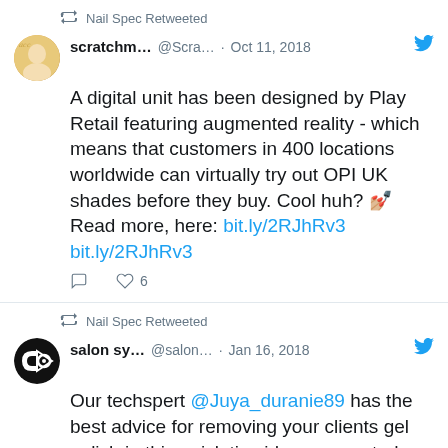Nail Spec Retweeted
scratchm... @Scra... · Oct 11, 2018
A digital unit has been designed by Play Retail featuring augmented reality - which means that customers in 400 locations worldwide can virtually try out OPI UK shades before they buy. Cool huh? 💅 Read more, here: bit.ly/2RJhRv3 bit.ly/2RJhRv3
6 likes
Nail Spec Retweeted
salon sy... @salon... · Jan 16, 2018
Our techspert @Juya_duranie89 has the best advice for removing your clients gel polish in this quick tip video we created.
[Figure (screenshot): Partial video thumbnail showing 'Gel...ress' text and a blue circle logo with orange play button overlay]